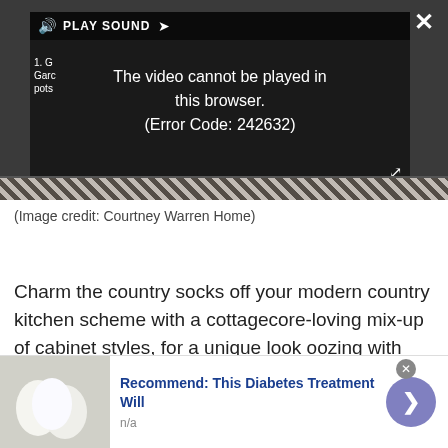[Figure (screenshot): Video player overlay showing error message: 'The video cannot be played in this browser. (Error Code: 242632)' with PLAY SOUND control bar at top, close button (X) top right, expand button bottom right, and partial video content visible beneath the overlay.]
(Image credit: Courtney Warren Home)
Charm the country socks off your modern country kitchen scheme with a cottagecore-loving mix-up of cabinet styles, for a unique look oozing with pastoral appeal. You could experiment with different kitchen cabinet color ideas,
[Figure (screenshot): Advertisement banner: 'Recommend: This Diabetes Treatment Will' with image of white eggs on left, n/a label, and purple arrow button on right.]